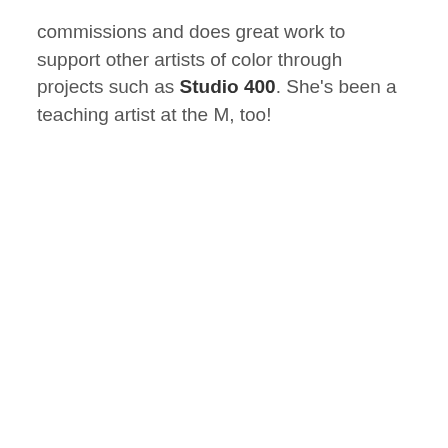commissions and does great work to support other artists of color through projects such as Studio 400. She's been a teaching artist at the M, too!